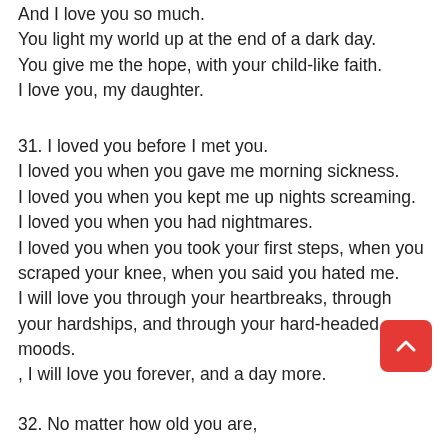And I love you so much.
You light my world up at the end of a dark day.
You give me the hope, with your child-like faith.
I love you, my daughter.
31. I loved you before I met you.
I loved you when you gave me morning sickness.
I loved you when you kept me up nights screaming.
I loved you when you had nightmares.
I loved you when you took your first steps, when you scraped your knee, when you said you hated me.
I will love you through your heartbreaks, through your hardships, and through your hard-headed moods.
, I will love you forever, and a day more.
32. No matter how old you are,